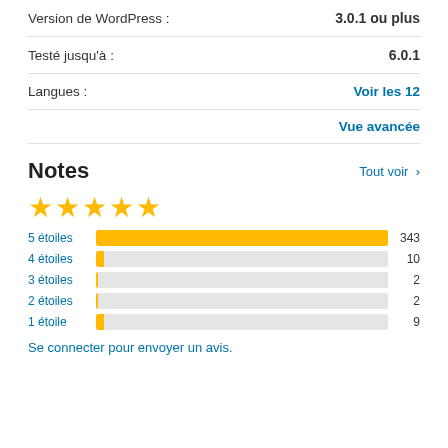| Version de WordPress : | 3.0.1 ou plus |
| Testé jusqu'à : | 6.0.1 |
| Langues : | Voir les 12 |
Vue avancée
Notes
Tout voir >
[Figure (bar-chart): Notes par étoiles]
Se connecter pour envoyer un avis.